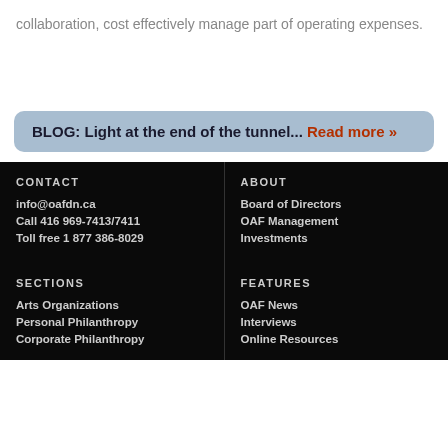collaboration, cost effectively manage part of operating expenses.
BLOG: Light at the end of the tunnel... Read more »
CONTACT
info@oafdn.ca
Call 416 969-7413/7411
Toll free 1 877 386-8029
ABOUT
Board of Directors
OAF Management
Investments
SECTIONS
Arts Organizations
Personal Philanthropy
Corporate Philanthropy
FEATURES
OAF News
Interviews
Online Resources